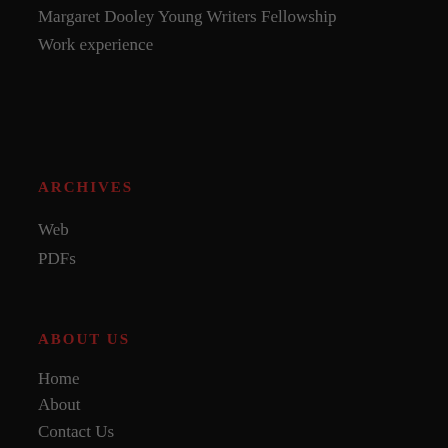Margaret Dooley Young Writers Fellowship
Work experience
ARCHIVES
Web
PDFs
ABOUT US
Home
About
Contact Us
Donate
Mission statement
Advertise
Privacy Policy